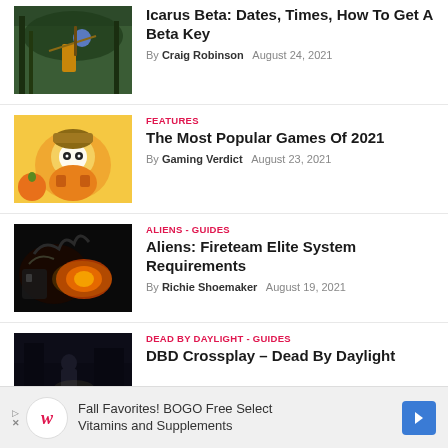[Figure (photo): Game screenshot showing an archer/hunter character in forest setting (Icarus)]
Icarus Beta: Dates, Times, How To Get A Beta Key
By Craig Robinson   August 24, 2021
FEATURES
[Figure (photo): Colorful cartoon/animated character from Fall Guys style game]
The Most Popular Games Of 2021
By Gaming Verdict   August 23, 2021
ALIENS - GUIDES
[Figure (photo): Dark action game screenshot from Aliens: Fireteam Elite]
Aliens: Fireteam Elite System Requirements
By Richie Shoemaker   August 19, 2021
DEAD BY DAYLIGHT - GUIDES
[Figure (photo): Dark screenshot from Dead by Daylight game]
DBD Crossplay – Dead By Daylight
Fall Favorites! BOGO Free Select Vitamins and Supplements